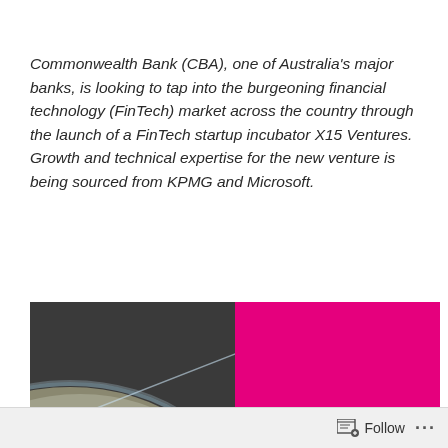Commonwealth Bank (CBA), one of Australia's major banks, is looking to tap into the burgeoning financial technology (FinTech) market across the country through the launch of a FinTech startup incubator X15 Ventures. Growth and technical expertise for the new venture is being sourced from KPMG and Microsoft.
[Figure (photo): X15 Ventures branding image showing a split composition: left half shows a photo of Earth from space with a diagonal arc/horizon line over a dark grey background; right half is a solid magenta/hot-pink colour. Overlaid at the bottom is the 'x15ventures' logo text in white.]
Follow ...